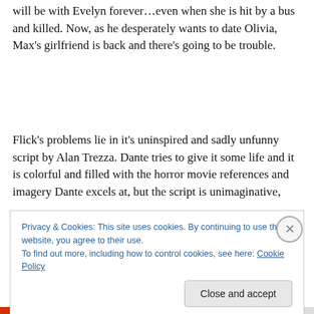will be with Evelyn forever…even when she is hit by a bus and killed. Now, as he desperately wants to date Olivia, Max's girlfriend is back and there's going to be trouble.
Flick's problems lie in it's uninspired and sadly unfunny script by Alan Trezza. Dante tries to give it some life and it is colorful and filled with the horror movie references and imagery Dante excels at, but the script is unimaginative,
Privacy & Cookies: This site uses cookies. By continuing to use this website, you agree to their use.
To find out more, including how to control cookies, see here: Cookie Policy